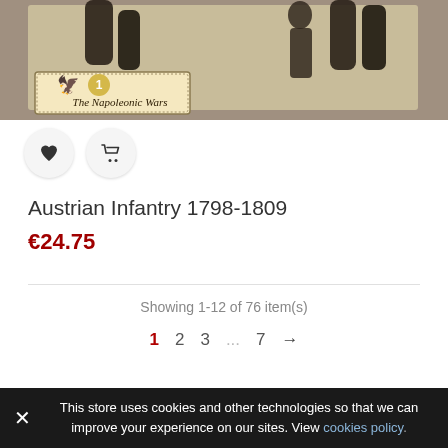[Figure (photo): Product image for Austrian Infantry 1798-1809 showing historical military figures/miniatures with 'The Napoleonic Wars' branding label in the lower left corner, against a grey background.]
Austrian Infantry 1798-1809
€24.75
Showing 1-12 of 76 item(s)
1  2  3  ...  7  →
This store uses cookies and other technologies so that we can improve your experience on our sites. View cookies policy.